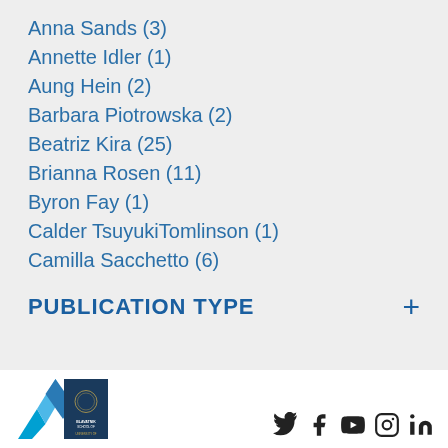Anna Sands (3)
Annette Idler (1)
Aung Hein (2)
Barbara Piotrowska (2)
Beatriz Kira (25)
Brianna Rosen (11)
Byron Fay (1)
Calder TsuyukiTomlinson (1)
Camilla Sacchetto (6)
PUBLICATION TYPE
[Figure (logo): Blavatnik School of Government, University of Oxford logo]